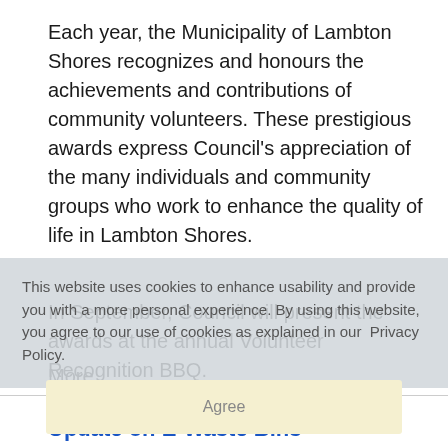Each year, the Municipality of Lambton Shores recognizes and honours the achievements and contributions of community volunteers. These prestigious awards express Council's appreciation of the many individuals and community groups who work to enhance the quality of life in Lambton Shores.
In September, Council will present the awards at the annual Volunteer Recognition BBQ.
More...
This website uses cookies to enhance usability and provide you with a more personal experience. By using this website, you agree to our use of cookies as explained in our Privacy Policy.
Agree
Update on E-Waste Bins